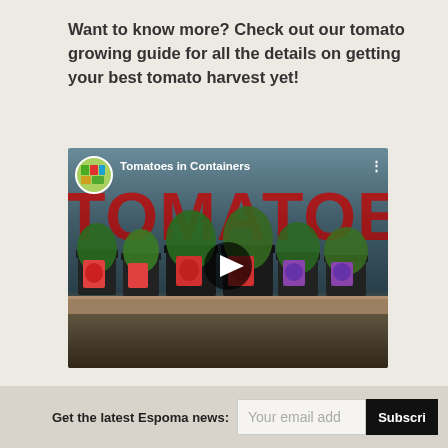Want to know more? Check out our tomato growing guide for all the details on getting your best tomato harvest yet!
[Figure (screenshot): YouTube video thumbnail showing tomato seedlings in black containers on a wooden shelf, with large red TOMATOES text overlay, a circular channel icon, and a title 'Tomatoes in Containers'. A play button is centered on the image.]
Get the latest Espoma news: Your email add  Subscri